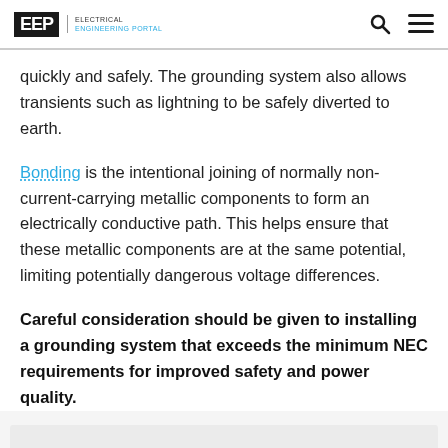EEP | ELECTRICAL ENGINEERING PORTAL
quickly and safely. The grounding system also allows transients such as lightning to be safely diverted to earth.
Bonding is the intentional joining of normally non-current-carrying metallic components to form an electrically conductive path. This helps ensure that these metallic components are at the same potential, limiting potentially dangerous voltage differences.
Careful consideration should be given to installing a grounding system that exceeds the minimum NEC requirements for improved safety and power quality.